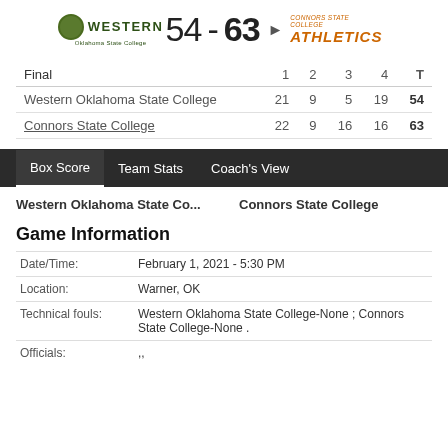[Figure (logo): Western Oklahoma State College logo with green circle and W text]
54 - 63
[Figure (logo): Connors State Athletics logo in orange italic text]
| Final | 1 | 2 | 3 | 4 | T |
| --- | --- | --- | --- | --- | --- |
| Western Oklahoma State College | 21 | 9 | 5 | 19 | 54 |
| Connors State College | 22 | 9 | 16 | 16 | 63 |
Box Score   Team Stats   Coach's View
Western Oklahoma State Co...   Connors State College
Game Information
| Date/Time: | February 1, 2021 - 5:30 PM |
| Location: | Warner, OK |
| Technical fouls: | Western Oklahoma State College-None ; Connors State College-None . |
| Officials: | ,, |